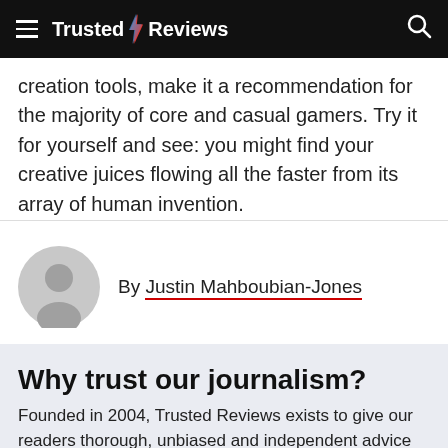Trusted Reviews
creation tools, make it a recommendation for the majority of core and casual gamers. Try it for yourself and see: you might find your creative juices flowing all the faster from its array of human invention.
By Justin Mahboubian-Jones
[Figure (illustration): Generic user avatar icon — a grey circle with a silhouette of a person's head and shoulders]
Why trust our journalism?
Founded in 2004, Trusted Reviews exists to give our readers thorough, unbiased and independent advice on what to buy.